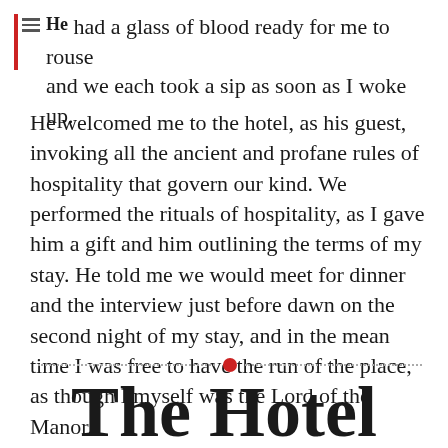He had a glass of blood ready for me to rouse and we each took a sip as soon as I woke up.
He welcomed me to the hotel, as his guest, invoking all the ancient and profane rules of hospitality that govern our kind. We performed the rituals of hospitality, as I gave him a gift and him outlining the terms of my stay. He told me we would meet for dinner and the interview just before dawn on the second night of my stay, and in the mean time I was free to have the run of the place, as though I myself was the Lord of the Manor.
The Hotel